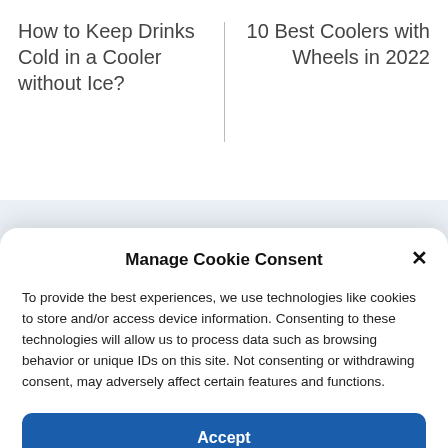How to Keep Drinks Cold in a Cooler without Ice?
10 Best Coolers with Wheels in 2022
Manage Cookie Consent
To provide the best experiences, we use technologies like cookies to store and/or access device information. Consenting to these technologies will allow us to process data such as browsing behavior or unique IDs on this site. Not consenting or withdrawing consent, may adversely affect certain features and functions.
Accept
Cookie Policy